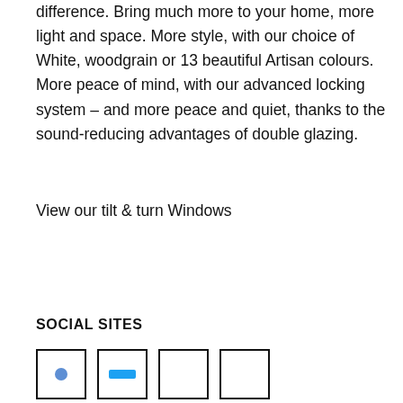difference. Bring much more to your home, more light and space. More style, with our choice of White, woodgrain or 13 beautiful Artisan colours. More peace of mind, with our advanced locking system – and more peace and quiet, thanks to the sound-reducing advantages of double glazing.
View our tilt & turn Windows
SOCIAL SITES
[Figure (illustration): Four social media icon boxes partially visible at bottom of page]